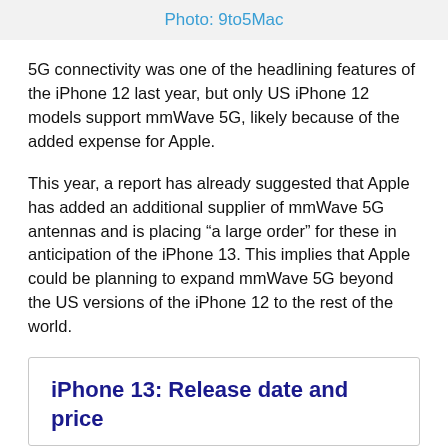Photo: 9to5Mac
5G connectivity was one of the headlining features of the iPhone 12 last year, but only US iPhone 12 models support mmWave 5G, likely because of the added expense for Apple.
This year, a report has already suggested that Apple has added an additional supplier of mmWave 5G antennas and is placing “a large order” for these in anticipation of the iPhone 13. This implies that Apple could be planning to expand mmWave 5G beyond the US versions of the iPhone 12 to the rest of the world.
iPhone 13: Release date and price